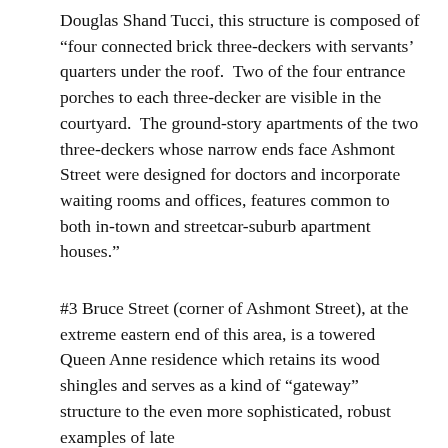Douglas Shand Tucci, this structure is composed of “four connected brick three-deckers with servants’ quarters under the roof.  Two of the four entrance porches to each three-decker are visible in the courtyard.  The ground-story apartments of the two three-deckers whose narrow ends face Ashmont Street were designed for doctors and incorporate waiting rooms and offices, features common to both in-town and streetcar-suburb apartment houses.”
#3 Bruce Street (corner of Ashmont Street), at the extreme eastern end of this area, is a towered Queen Anne residence which retains its wood shingles and serves as a kind of “gateway” structure to the even more sophisticated, robust examples of late